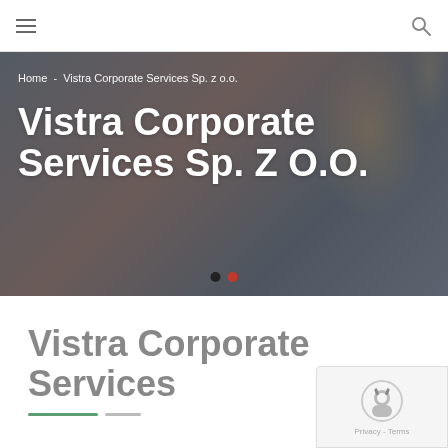≡   [search icon]
[Figure (screenshot): Hero banner with dark city background overlay showing breadcrumb navigation and page title 'Vistra Corporate Services Sp. Z O.O.' in large white bold text, with carousel indicator dots at the bottom]
Home  -  Vistra Corporate Services Sp. z o.o.
Vistra Corporate Services Sp. Z O.O.
Vistra Corporate Services
[Figure (other): reCAPTCHA widget in bottom right corner showing a robot icon and 'Privacy - Terms' text]